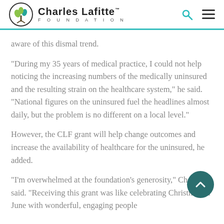Charles Lafitte Foundation
aware of this dismal trend.
“During my 35 years of medical practice, I could not help noticing the increasing numbers of the medically uninsured and the resulting strain on the healthcare system,” he said. “National figures on the uninsured fuel the headlines almost daily, but the problem is no different on a local level.”
However, the CLF grant will help change outcomes and increase the availability of healthcare for the uninsured, he added.
“I’m overwhelmed at the foundation’s generosity,” Cheslock said. “Receiving this grant was like celebrating Christmas in June with wonderful, engaging people